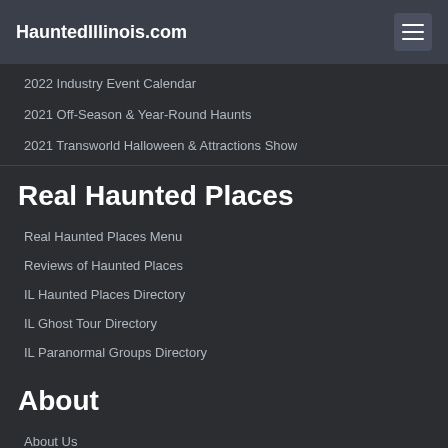HauntedIllinois.com
2022 Industry Event Calendar
2021 Off-Season & Year-Round Haunts
2021 Transworld Halloween & Attractions Show
Real Haunted Places
Real Haunted Places Menu
Reviews of Haunted Places
IL Haunted Places Directory
IL Ghost Tour Directory
IL Paranormal Groups Directory
About
About Us
Advertise
Contact Us